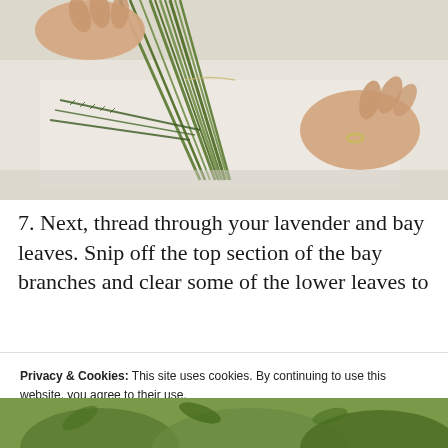[Figure (photo): Hands tying or threading herb stems (rosemary and other green herbs) on a white surface. One hand wears a ring.]
7. Next, thread through your lavender and bay leaves. Snip off the top section of the bay branches and clear some of the lower leaves to give yourself some hand holds in a...
Privacy & Cookies: This site uses cookies. By continuing to use this website, you agree to their use.
To find out more, including how to control cookies, see here:
Our Cookie Policy
[Figure (photo): Partial view of green herbs/plants at bottom of page.]